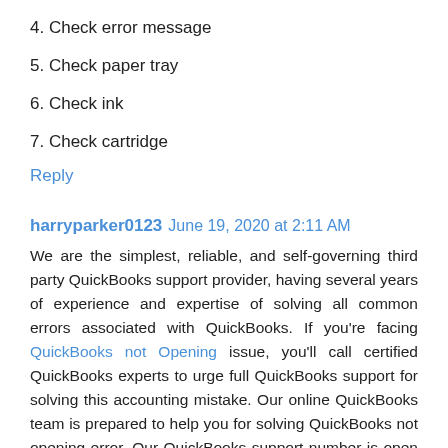4. Check error message
5. Check paper tray
6. Check ink
7. Check cartridge
Reply
harryparker0123  June 19, 2020 at 2:11 AM
We are the simplest, reliable, and self-governing third party QuickBooks support provider, having several years of experience and expertise of solving all common errors associated with QuickBooks. If you're facing QuickBooks not Opening issue, you'll call certified QuickBooks experts to urge full QuickBooks support for solving this accounting mistake. Our online QuickBooks team is prepared to help you for solving QuickBooks not opening error. Our QuickBooks support number is open 24 hour to supply the simplest support for any issue.